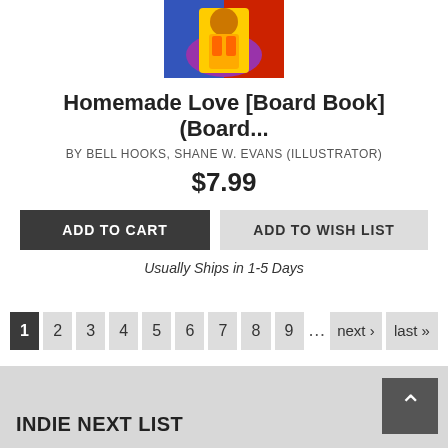[Figure (photo): Partial book cover image showing colorful illustration of a figure in a yellow dress against blue and red background]
Homemade Love [Board Book] (Board...
BY BELL HOOKS, SHANE W. EVANS (ILLUSTRATOR)
$7.99
ADD TO CART
ADD TO WISH LIST
Usually Ships in 1-5 Days
1 2 3 4 5 6 7 8 9 ... next › last »
INDIE NEXT LIST